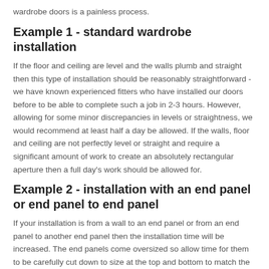wardrobe doors is a painless process.
Example 1 - standard wardrobe installation
If the floor and ceiling are level and the walls plumb and straight then this type of installation should be reasonably straightforward - we have known experienced fitters who have installed our doors before to be able to complete such a job in 2-3 hours. However, allowing for some minor discrepancies in levels or straightness, we would recommend at least half a day be allowed. If the walls, floor and ceiling are not perfectly level or straight and require a significant amount of work to create an absolutely rectangular aperture then a full day's work should be allowed for.
Example 2 - installation with an end panel or end panel to end panel
If your installation is from a wall to an end panel or from an end panel to another end panel then the installation time will be increased. The end panels come oversized so allow time for them to be carefully cut down to size at the top and bottom to match the run of the ceiling and floor and also at the back to match the contours of your wall. Once the end panels have been cut they will also need to be fixed securely in